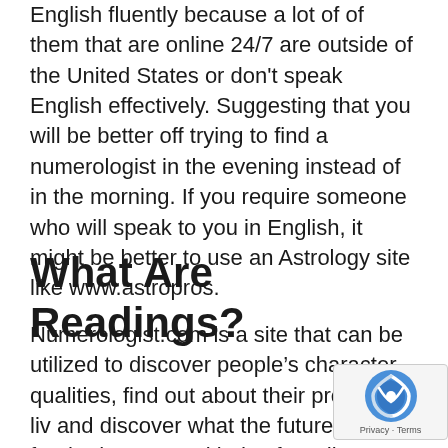English fluently because a lot of of them that are online 24/7 are outside of the United States or don't speak English effectively. Suggesting that you will be better off trying to find a numerologist in the evening instead of in the morning. If you require someone who will speak to you in English, it might be better to use an Astrology site like www.astropros.
What Are Readings?
Numerologist.com is a site that can be utilized to discover people's character qualities, find out about their previous lives and discover what the future holds for them. There are 3 kinds of readings provided on